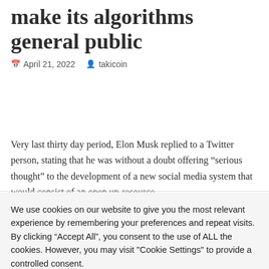make its algorithms general public
April 21, 2022   takicoin
Very last thirty day period, Elon Musk replied to a Twitter person, stating that he was without a doubt offering “serious thought” to the development of a new social media system that would consist of an open up-resource
We use cookies on our website to give you the most relevant experience by remembering your preferences and repeat visits. By clicking “Accept All”, you consent to the use of ALL the cookies. However, you may visit "Cookie Settings" to provide a controlled consent.